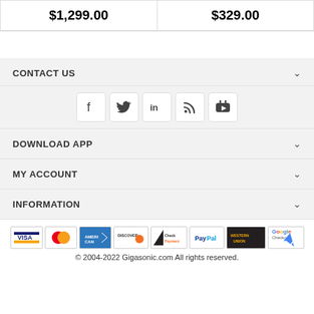| $1,299.00 | $329.00 |
CONTACT US
[Figure (infographic): Social media icons: Facebook, Twitter, LinkedIn, RSS, YouTube]
DOWNLOAD APP
MY ACCOUNT
INFORMATION
[Figure (infographic): Payment method logos: VISA, MasterCard, American Express, Discover, Check Payment, PayPal, Western Union, Google Checkout]
© 2004-2022 Gigasonic.com All rights reserved.